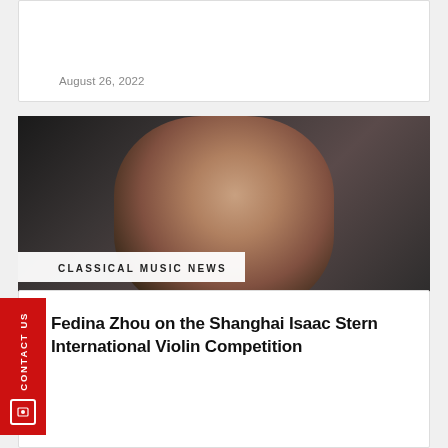August 26, 2022
[Figure (photo): Portrait photograph of Fedina Zhou, a woman with short dark hair and pearl drop earring, wearing a dark outfit with white lace collar detail, smiling against a dark background]
CLASSICAL MUSIC NEWS
Fedina Zhou on the Shanghai Isaac Stern International Violin Competition